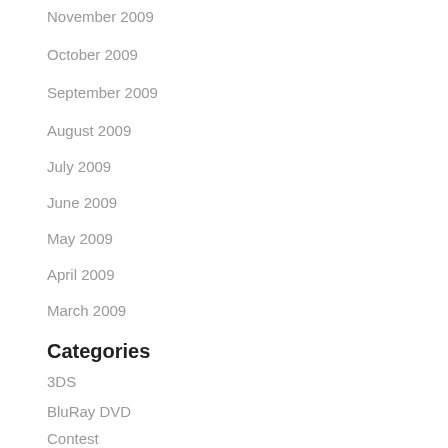November 2009
October 2009
September 2009
August 2009
July 2009
June 2009
May 2009
April 2009
March 2009
Categories
3DS
BluRay DVD
Contest
Default